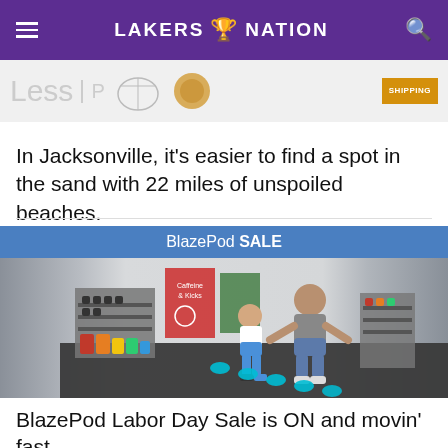Lakers Nation
[Figure (screenshot): Partial advertisement banner showing 'Less' text and product images with a 'SHIPPING' label]
In Jacksonville, it's easier to find a spot in the sand with 22 miles of unspoiled beaches.
Visit Jacksonville | Sponsored
[Figure (photo): BlazePod SALE advertisement showing an adult and child in a gym stepping on glowing pod sensors on a dark mat, with weight racks visible in background]
BlazePod Labor Day Sale is ON and movin' fast